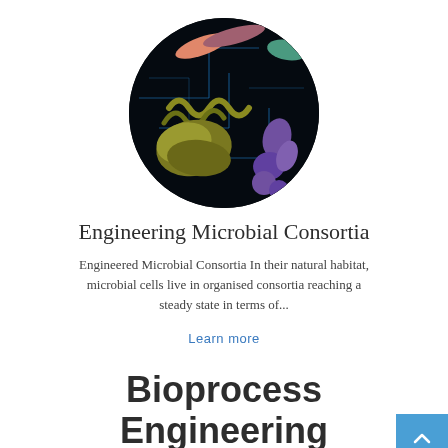[Figure (photo): Circular cropped scientific illustration of microbial organisms (bacteria and microbes) in various colors — pink, olive/yellow, purple, teal — on a dark background with blue circuit-like lines.]
Engineering Microbial Consortia
Engineered Microbial Consortia In their natural habitat, microbial cells live in organised consortia reaching a steady state in terms of...
Learn more
Bioprocess Engineering